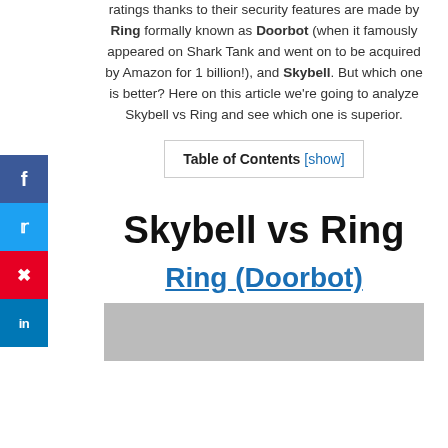ratings thanks to their security features are made by Ring formally known as Doorbot (when it famously appeared on Shark Tank and went on to be acquired by Amazon for 1 billion!), and Skybell. But which one is better? Here on this article we're going to analyze Skybell vs Ring and see which one is superior.
Table of Contents [show]
Skybell vs Ring
Ring (Doorbot)
[Figure (photo): Bottom portion of a photo, partially visible]